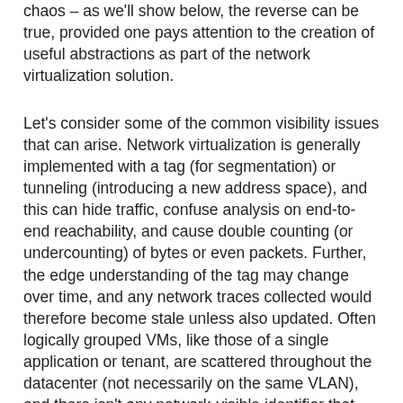chaos – as we'll show below, the reverse can be true, provided one pays attention to the creation of useful abstractions as part of the network virtualization solution.
Let's consider some of the common visibility issues that can arise. Network virtualization is generally implemented with a tag (for segmentation) or tunneling (introducing a new address space), and this can hide traffic, confuse analysis on end-to-end reachability, and cause double counting (or undercounting) of bytes or even packets. Further, the edge understanding of the tag may change over time, and any network traces collected would therefore become stale unless also updated. Often logically grouped VMs, like those of a single application or tenant, are scattered throughout the datacenter (not necessarily on the same VLAN), and there isn't any network-visible identifier that signifies the grouping. For